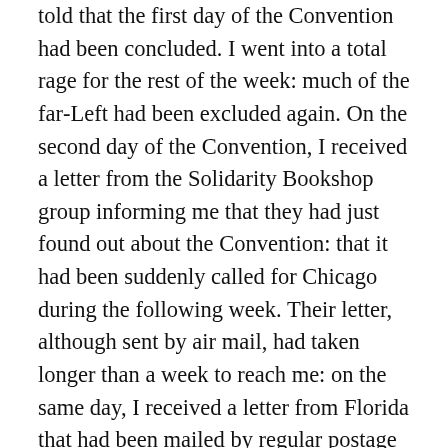told that the first day of the Convention had been concluded. I went into a total rage for the rest of the week: much of the far-Left had been excluded again. On the second day of the Convention, I received a letter from the Solidarity Bookshop group informing me that they had just found out about the Convention: that it had been suddenly called for Chicago during the following week. Their letter, although sent by air mail, had taken longer than a week to reach me: on the same day, I received a letter from Florida that had been mailed by regular postage just two days before. Needless to say, much of the far-Left had been excluded again: the only Anarchists that got to the Convention were those already in Chicago: a New York group, and a few isolated delegates. Despite this miserable showing, several Movement publications seemed to be openly titillated that the Anarchists were